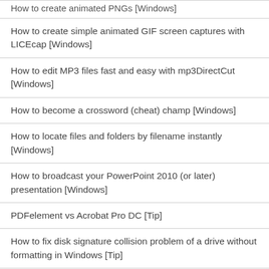How to create animated PNGs [Windows]
How to create simple animated GIF screen captures with LICEcap [Windows]
How to edit MP3 files fast and easy with mp3DirectCut [Windows]
How to become a crossword (cheat) champ [Windows]
How to locate files and folders by filename instantly [Windows]
How to broadcast your PowerPoint 2010 (or later) presentation [Windows]
PDFelement vs Acrobat Pro DC [Tip]
How to fix disk signature collision problem of a drive without formatting in Windows [Tip]
How to turn ads off in uTorrent in Windows